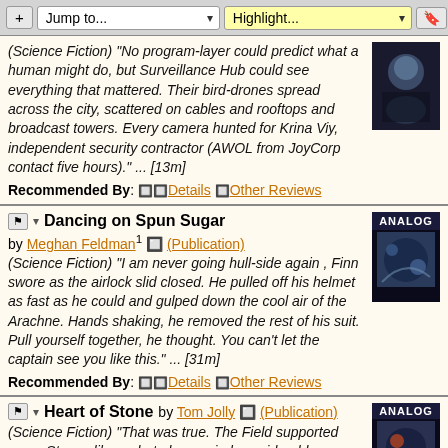+ Jump to... Highlight...
(Science Fiction) "No program-layer could predict what a human might do, but Surveillance Hub could see everything that mattered. Their bird-drones spread across the city, scattered on cables and rooftops and broadcast towers. Every camera hunted for Krina Viy, independent security contractor (AWOL from JoyCorp contact five hours)." ... [13m]
Recommended By: Details | Other Reviews
Dancing on Spun Sugar
by Meghan Feldman¹ (Publication)
(Science Fiction) "I am never going hull-side again , Finn swore as the airlock slid closed. He pulled off his helmet as fast as he could and gulped down the cool air of the Arachne. Hands shaking, he removed the rest of his suit. Pull yourself together, he thought. You can't let the captain see you like this." ... [31m]
Recommended By: Details | Other Reviews
Heart of Stone
by Tom Jolly (Publication)
(Science Fiction) "That was true. The Field supported many Stones like us but also carried considerably more unthinking rocks that obscured our far view.